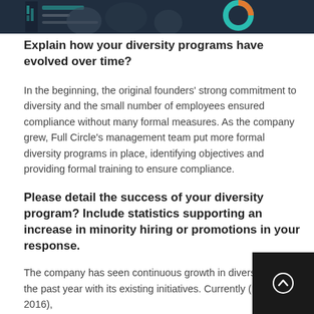[Figure (photo): Header image showing people in a business meeting with data visualization overlay including a donut/pie chart graphic in teal, orange and blue tones]
Explain how your diversity programs have evolved over time?
In the beginning, the original founders' strong commitment to diversity and the small number of employees ensured compliance without many formal measures. As the company grew, Full Circle's management team put more formal diversity programs in place, identifying objectives and providing formal training to ensure compliance.
Please detail the success of your diversity program? Include statistics supporting an increase in minority hiring or promotions in your response.
The company has seen continuous growth in diversity over the past year with its existing initiatives. Currently (December 2016),